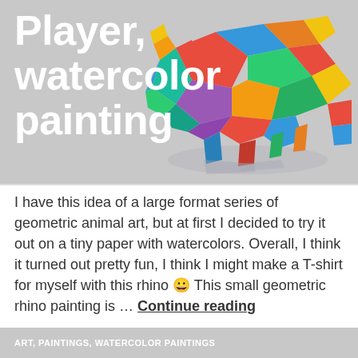[Figure (illustration): Colorful geometric low-poly rhino/soccer player watercolor painting on grey background]
Player, watercolor painting
I have this idea of a large format series of geometric animal art, but at first I decided to try it out on a tiny paper with watercolors. Overall, I think it turned out pretty fun, I think I might make a T-shirt for myself with this rhino 😀 This small geometric rhino painting is … Continue reading
July 24, 2020
abstract, geometric, gouache, kids room art, painting, rhino, rhinoceros, small, small painting, soccer, watercolor
Leave a comment
ART, PAINTINGS, WATERCOLOR PAINTINGS